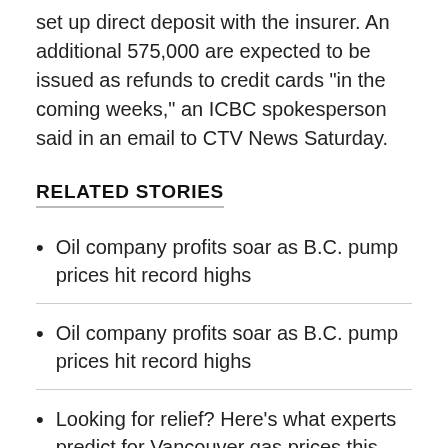set up direct deposit with the insurer. An additional 575,000 are expected to be issued as refunds to credit cards "in the coming weeks," an ICBC spokesperson said in an email to CTV News Saturday.
RELATED STORIES
Oil company profits soar as B.C. pump prices hit record highs
Oil company profits soar as B.C. pump prices hit record highs
Looking for relief? Here's what experts predict for Vancouver gas prices this week, summer months
'So disappointing': B.C. charities struggling